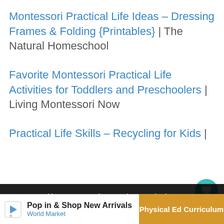Montessori Practical Life Ideas – Dressing Frames & Folding {Printables} | The Natural Homeschool
Favorite Montessori Practical Life Activities for Toddlers and Preschoolers | Living Montessori Now
Practical Life Skills – Recycling for Kids |
We use cookies to ensure that we give you the best experience on our website. If you continue to use this site we will assume that you are happy with it.
WHAT'S NEXT → Montessori Practical Lif...
Pop in & Shop New Arrivals World Market
Physical Ed Curriculum